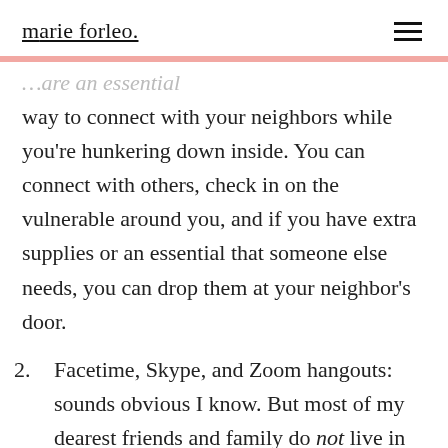marie forleo.
…are an essential way to connect with your neighbors while you're hunkering down inside. You can connect with others, check in on the vulnerable around you, and if you have extra supplies or an essential that someone else needs, you can drop them at your neighbor's door.
2. Facetime, Skype, and Zoom hangouts: sounds obvious I know. But most of my dearest friends and family do not live in the same place. We have coffee dates, lunches and hangout time regularly.